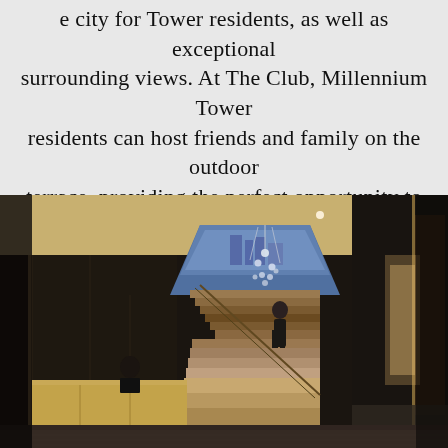e city for Tower residents, as well as exceptional surrounding views. At The Club, Millennium Tower residents can host friends and family on the outdoor terrace, providing the perfect opportunity to unwind and enjoy the stunning views of Downtown Boston.
[Figure (photo): Interior lobby photo of Millennium Tower Boston showing a concierge desk on the left with a suited staff member, grand staircase in the center with a person ascending, dramatic crystal chandelier hanging from a geometric ceiling cutout revealing views of downtown Boston, and a warmly lit marble corridor on the right.]